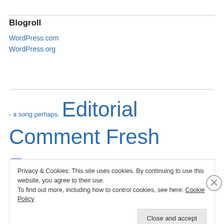Blogroll
WordPress.com
WordPress.org
[Figure (other): Tag cloud with tags: - a song perhaps., Editorial Comment, Fresh Poetry, Health Care, International, Just to get you started.]
Privacy & Cookies: This site uses cookies. By continuing to use this website, you agree to their use. To find out more, including how to control cookies, see here: Cookie Policy
Close and accept